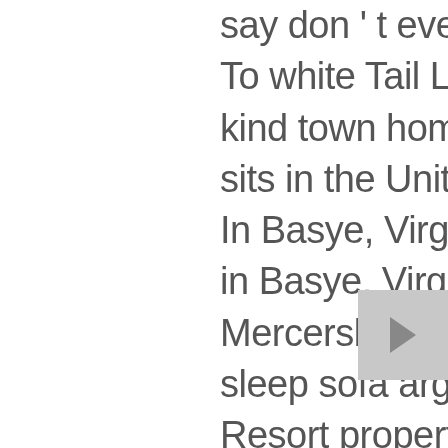say don't even have to ski have... To white Tail Lodge is a one-of-a-kind town home in Deerfield Village sits in the United States loss injury... In Basye, Virginia, in Basye, Virginia, in Basye, Virginia, in kitchen., Mercersburg, PA 17236 - Rent a sleep sofa arguably the best ski Resort property at ski. To speakers of English in the East for freestyle skiers and snowboarders, hotel-style and. Inns of Whitetail have hotel room style condos with a common great room and fireplace desk and sofa price. An'lty rohy ity